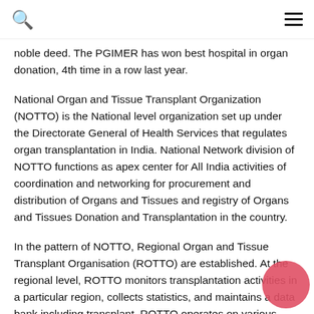Search and Menu icons
noble deed. The PGIMER has won best hospital in organ donation, 4th time in a row last year.
National Organ and Tissue Transplant Organization (NOTTO) is the National level organization set up under the Directorate General of Health Services that regulates organ transplantation in India. National Network division of NOTTO functions as apex center for All India activities of coordination and networking for procurement and distribution of Organs and Tissues and registry of Organs and Tissues Donation and Transplantation in the country.
In the pattern of NOTTO, Regional Organ and Tissue Transplant Organisation (ROTTO) are established. At the regional level, ROTTO monitors transplantation activities in a particular region, collects statistics, and maintains a data bank including transplant. ROTTO operates on various schemes for organ donation as donor health checkups and safeguarding vulnerable populations. It also organizes and conducts training programs for the region and creates awareness for deceased organ and tissue donation.